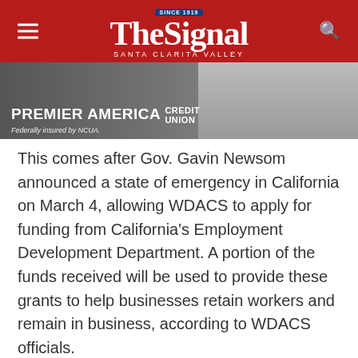The Signal — Santa Clarita Valley
[Figure (photo): Premier America Credit Union advertisement banner with partial image of a person in a white shirt. Text reads 'PREMIER AMERICA CREDIT UNION' and 'Federally insured by NCUA.']
This comes after Gov. Gavin Newsom announced a state of emergency in California on March 4, allowing WDACS to apply for funding from California's Employment Development Department. A portion of the funds received will be used to provide these grants to help businesses retain workers and remain in business, according to WDACS officials.
To qualify for the grant, businesses must: